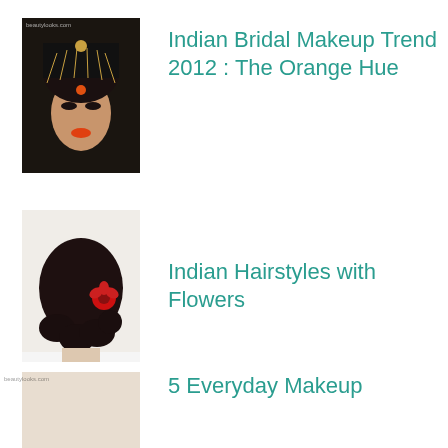[Figure (photo): Indian bride with traditional jewelry and orange bindi]
Indian Bridal Makeup Trend 2012 : The Orange Hue
[Figure (photo): Back view of woman with dark curly hair and red flower accessory]
Indian Hairstyles with Flowers
[Figure (photo): Partial view of woman's face for everyday makeup article]
5 Everyday Makeup